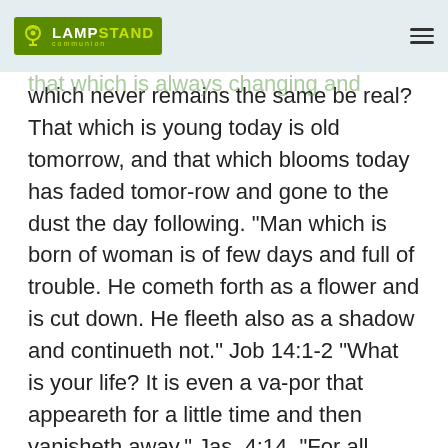LAMPSTAND communication
Visible things are always changing and never remain the same. How then can that which is always changing and which never remains the same be real? That which is young today is old tomorrow, and that which blooms today has faded tomor-row and gone to the dust the day following. “Man which is born of woman is of few days and full of trouble. He cometh forth as a flower and is cut down. He fleeth also as a shadow and continueth not.” Job 14:1-2 “What is your life? It is even a va-por that appeareth for a little time and then vanisheth away.” Jas. 4:14. “For all flesh is as grass and the glory of man as the flower of grass. The grass withereth and the flower thereof falleth away.” 1 Pet. 1:24 “As for man, his days are as grass; as a flower of the field so he flourisheth. For the wind passeth over it, and it is gone; and the place thereof shall know it no more.” Psa. 103:15, 16 “For that which is seen is temporal, but that which is not